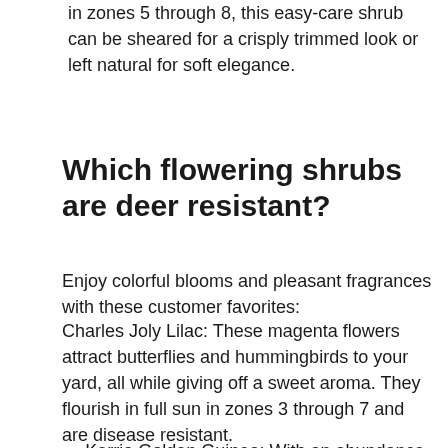in zones 5 through 8, this easy-care shrub can be sheared for a crisply trimmed look or left natural for soft elegance.
Which flowering shrubs are deer resistant?
Enjoy colorful blooms and pleasant fragrances with these customer favorites:
Charles Joly Lilac: These magenta flowers attract butterflies and hummingbirds to your yard, all while giving off a sweet aroma. They flourish in full sun in zones 3 through 7 and are disease resistant.
Kerria Golden Guinea: With an abundance of bright yellow flowers in April and May and stems that stay green all winter, these also double as privacy shrubs. They thrive in growing zones 4 through 9 with cold hardiness and remarkable versatility.